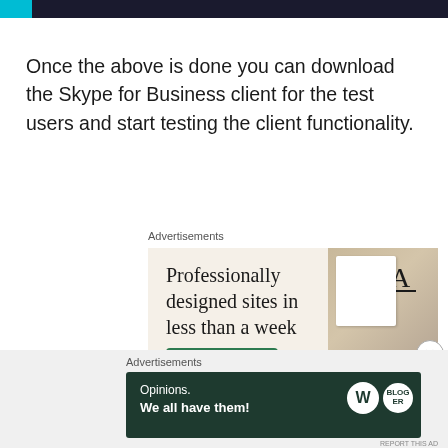Once the above is done you can download the Skype for Business client for the test users and start testing the client functionality.
Advertisements
[Figure (screenshot): Advertisement banner: 'Professionally designed sites in less than a week' with an 'Explore options' green button and website mockup images on a beige background.]
Advertisements
[Figure (screenshot): Advertisement banner: 'Opinions. We all have them!' on dark green background with WordPress and another logo.]